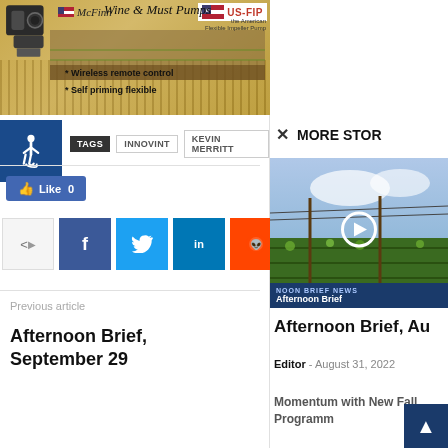[Figure (photo): Advertisement banner for McFinn Wine & Must Pumps / US-FIP with text: Wireless remote control, Self priming flexible]
[Figure (photo): Accessibility wheelchair icon in dark blue square]
TAGS  INNOVINT  KEVIN MERRITT
Like 0
[Figure (infographic): Social share buttons: share, facebook, twitter, linkedin, reddit]
Previous article
Afternoon Brief, September 29
× MORE STOR
[Figure (screenshot): Video thumbnail of vineyard with NOON BRIEF NEWS / Afternoon Brief overlay and play button]
Afternoon Brief, Au
Editor - August 31, 2022
Momentum with New Fall Programm